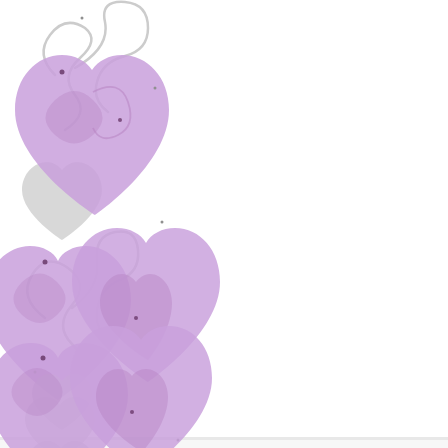[Figure (illustration): Decorative page border featuring three groups of purple/lavender heart-shaped balloon clusters with grey ribbon/string accents and small dot sparkles, arranged vertically along the left side of the page. Top group shows one large purple heart and one grey heart with curling ribbons, middle group shows two purple hearts with a small grey heart below and curling ribbons, bottom group (partially visible) shows purple hearts at page bottom.]